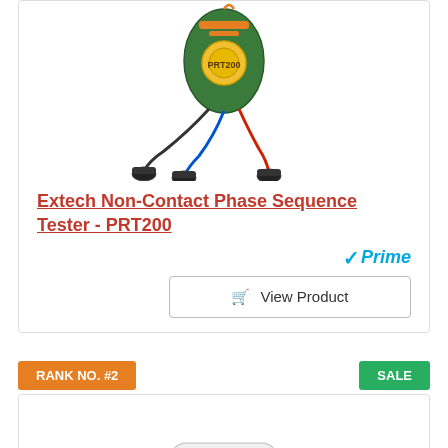[Figure (photo): Extech Non-Contact Phase Sequence Tester PRT200 product photo]
Extech Non-Contact Phase Sequence Tester - PRT200
[Figure (logo): Amazon Prime logo]
View Product
RANK NO. #2
SALE
[Figure (photo): Second product photo - white cube-shaped device]